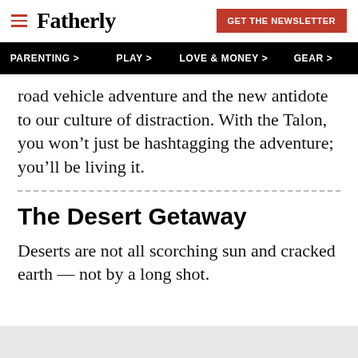Fatherly — GET THE NEWSLETTER
PARENTING > PLAY > LOVE & MONEY > GEAR >
road vehicle adventure and the new antidote to our culture of distraction. With the Talon, you won't just be hashtagging the adventure; you'll be living it.
The Desert Getaway
Deserts are not all scorching sun and cracked earth — not by a long shot.